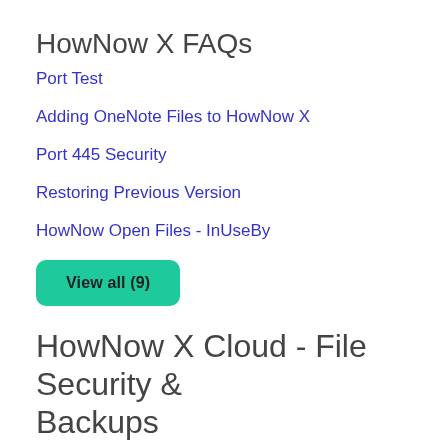HowNow X FAQs
Port Test
Adding OneNote Files to HowNow X
Port 445 Security
Restoring Previous Version
HowNow Open Files - InUseBy
View all (9)
HowNow X Cloud - File Security & Backups
Overview of File Security & Backups